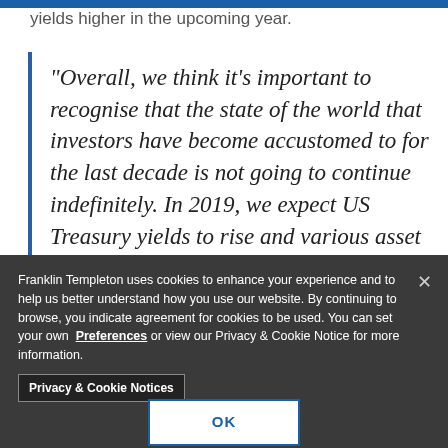yields higher in the upcoming year.
“Overall, we think it’s important to recognise that the state of the world that investors have become accustomed to for the last decade is not going to continue indefinitely. In 2019, we expect US Treasury yields to rise and various asset
Franklin Templeton uses cookies to enhance your experience and to help us better understand how you use our website. By continuing to browse, you indicate agreement for cookies to be used. You can set your own Preferences or view our Privacy & Cookie Notice for more information. Privacy & Cookie Notices
OK